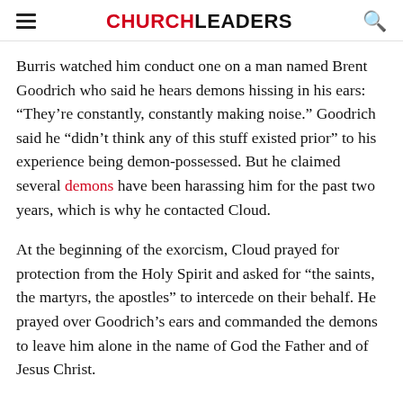CHURCHLEADERS
Burris watched him conduct one on a man named Brent Goodrich who said he hears demons hissing in his ears: “They’re constantly, constantly making noise.” Goodrich said he “didn’t think any of this stuff existed prior” to his experience being demon-possessed. But he claimed several demons have been harassing him for the past two years, which is why he contacted Cloud.
At the beginning of the exorcism, Cloud prayed for protection from the Holy Spirit and asked for “the saints, the martyrs, the apostles” to intercede on their behalf. He prayed over Goodrich’s ears and commanded the demons to leave him alone in the name of God the Father and of Jesus Christ.
“They’re jumping from one side to the other and they’re trying